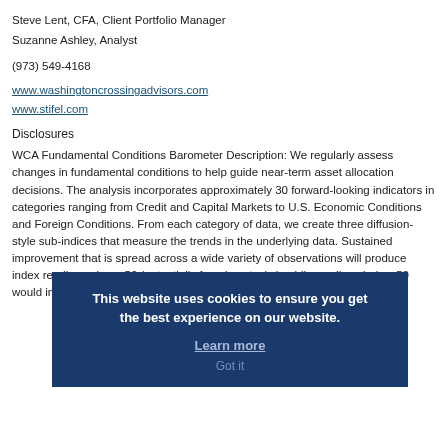Steve Lent, CFA, Client Portfolio Manager
Suzanne Ashley, Analyst
(973) 549-4168
www.washingtoncrossingadvisors.com
www.stifel.com
Disclosures
WCA Fundamental Conditions Barometer Description: We regularly assess changes in fundamental conditions to help guide near-term asset allocation decisions. The analysis incorporates approximately 30 forward-looking indicators in categories ranging from Credit and Capital Markets to U.S. Economic Conditions and Foreign Conditions. From each category of data, we create three diffusion-style sub-indices that measure the trends in the underlying data. Sustained improvement that is spread across a wide variety of observations will produce index readings above 50 (potentially favoring stocks), while readings below 50 would indicate potential
[Figure (other): Cookie consent overlay banner with dark blue background containing text: 'This website uses cookies to ensure you get the best experience on our website.' with a 'Learn more' link and 'Got it' button.]